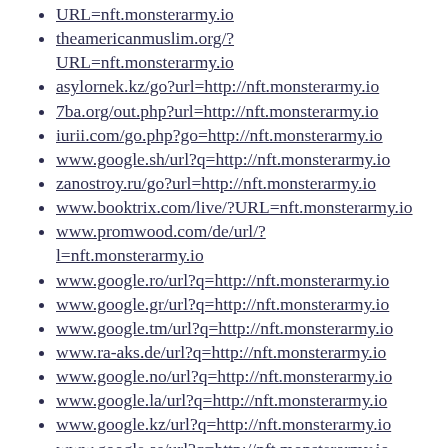URL=nft.monsterarmy.io
theamericanmuslim.org/?URL=nft.monsterarmy.io
asylornek.kz/go?url=http://nft.monsterarmy.io
7ba.org/out.php?url=http://nft.monsterarmy.io
iurii.com/go.php?go=http://nft.monsterarmy.io
www.google.sh/url?q=http://nft.monsterarmy.io
zanostroy.ru/go?url=http://nft.monsterarmy.io
www.booktrix.com/live/?URL=nft.monsterarmy.io
www.promwood.com/de/url/?l=nft.monsterarmy.io
www.google.ro/url?q=http://nft.monsterarmy.io
www.google.gr/url?q=http://nft.monsterarmy.io
www.google.tm/url?q=http://nft.monsterarmy.io
www.ra-aks.de/url?q=http://nft.monsterarmy.io
www.google.no/url?q=http://nft.monsterarmy.io
www.google.la/url?q=http://nft.monsterarmy.io
www.google.kz/url?q=http://nft.monsterarmy.io
www.google.as/url?q=http://nft.monsterarmy.io